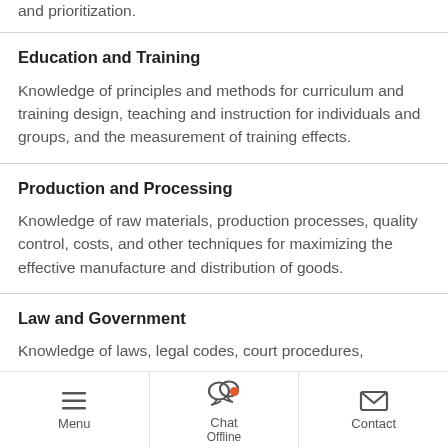and prioritization.
Education and Training
Knowledge of principles and methods for curriculum and training design, teaching and instruction for individuals and groups, and the measurement of training effects.
Production and Processing
Knowledge of raw materials, production processes, quality control, costs, and other techniques for maximizing the effective manufacture and distribution of goods.
Law and Government
Knowledge of laws, legal codes, court procedures,
Menu  Chat  Offline  Contact